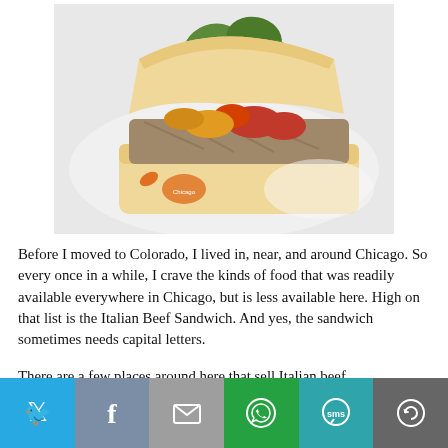[Figure (photo): Photo of an Italian Beef Sandwich on a white plate, topped with giardiniera (pickled vegetables including green peppers and red peppers) and sliced beef on a white Italian roll.]
Before I moved to Colorado, I lived in, near, and around Chicago. So every once in a while, I crave the kinds of food that was readily available everywhere in Chicago, but is less available here. High on that list is the Italian Beef Sandwich. And yes, the sandwich sometimes needs capital letters.
There are a few places around here that sell Italian beef
Twitter | Facebook | Email | WhatsApp | SMS | More